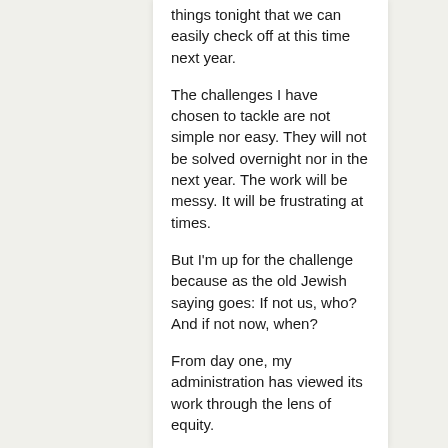things tonight that we can easily check off at this time next year.
The challenges I have chosen to tackle are not simple nor easy. They will not be solved overnight nor in the next year. The work will be messy. It will be frustrating at times.
But I'm up for the challenge because as the old Jewish saying goes: If not us, who? And if not now, when?
From day one, my administration has viewed its work through the lens of equity.
And we have made progress.
Last year, Michel'le Miller came to Healthy Beginnings at Home – a program led by CelebrateOne – when she was pregnant and leaving an abusive relationship. She received assistance for housing, as well as diapers, wipes, clothes and car seats.